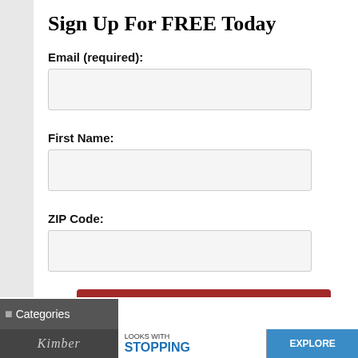Sign Up For FREE Today
Email (required):
First Name:
ZIP Code:
Sign Me Up!
Categories
[Figure (screenshot): Advertisement banner showing Kimber logo, 'LOOKS WITH STOPPING' text and 'EXPLORE' button in blue]